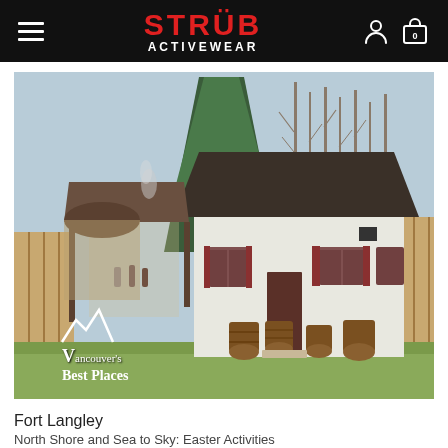STRÜB ACTIVEWEAR
[Figure (photo): Photo of Fort Langley historic site showing a white two-storey building with dark roof and red window shutters, a covered open structure on the left, wooden barrels in the foreground, tall trees in background, overcast winter day. Overlaid with 'Vancouver's Best Places' logo text with mountain icon.]
Fort Langley
North Shore and Sea to Sky: Easter Activities